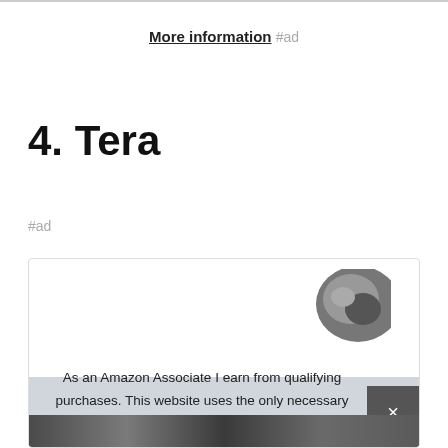More information #ad
4. Tera
#ad
[Figure (photo): Product image inside a bordered box, partially visible, with a cookie consent overlay showing: 'As an Amazon Associate I earn from qualifying purchases. This website uses the only necessary cookies to ensure you get the best experience on our website. More information' and a close button (×)]